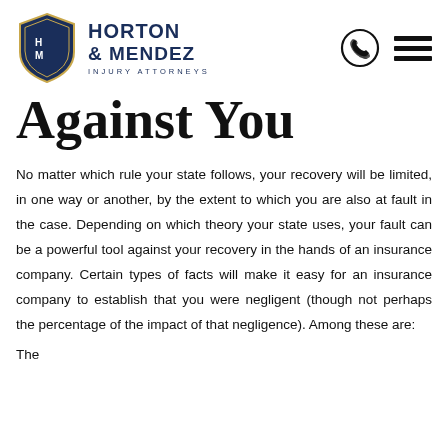[Figure (logo): Horton & Mendez Injury Attorneys logo: shield with HM initials and firm name]
Against You
No matter which rule your state follows, your recovery will be limited, in one way or another, by the extent to which you are also at fault in the case. Depending on which theory your state uses, your fault can be a powerful tool against your recovery in the hands of an insurance company. Certain types of facts will make it easy for an insurance company to establish that you were negligent (though not perhaps the percentage of the impact of that negligence). Among these are:
The [cut off text at bottom]